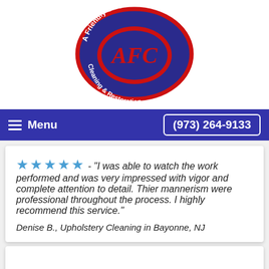[Figure (logo): A Friendly Carpet Cleaning & Restoration oval logo with blue background, red inner oval, and red AFC letters]
Menu   (973) 264-9133
★★★★★ - "I was able to watch the work performed and was very impressed with vigor and complete attention to detail. Thier mannerism were professional throughout the process. I highly recommend this service."
Denise B., Upholstery Cleaning in Bayonne, NJ